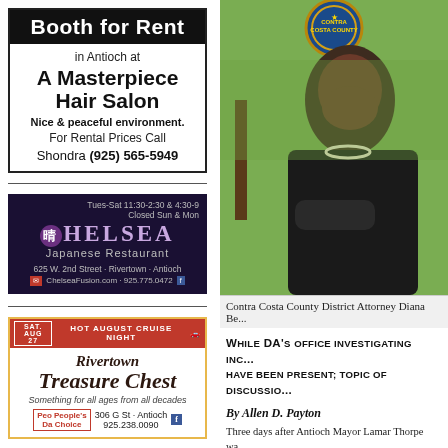[Figure (photo): Advertisement for Booth for Rent at A Masterpiece Hair Salon in Antioch, with phone number (925) 565-5949 for Shondra]
[Figure (photo): Advertisement for Chelsea Japanese Restaurant, 625 W. 2nd Street, Rivertown, Antioch. Hours Tues-Sat 11:30-2:30 & 4:30-9, Closed Sun & Mon. ChelseaFusion.com 925.775.0472]
[Figure (photo): Advertisement for Rivertown Treasure Chest, SAT. AUG 27 Hot August Cruise Night, 306 G St, Antioch, 925.238.0090]
[Figure (photo): Photo of Contra Costa County District Attorney Diana Becton, smiling, wearing a black jacket and pearl necklace, with Contra Costa County Sheriff badge visible in upper portion]
Contra Costa County District Attorney Diana Be...
WHILE DA'S OFFICE INVESTIGATING INC... HAVE BEEN PRESENT; TOPIC OF DISCUSSIO...
By Allen D. Payton
Three days after Antioch Mayor Lamar Thorpe wa...